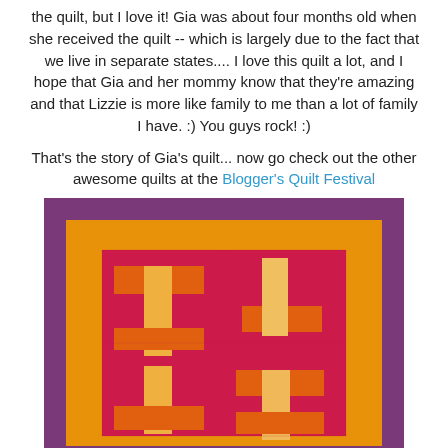the quilt, but I love it! Gia was about four months old when she received the quilt -- which is largely due to the fact that we live in separate states.... I love this quilt a lot, and I hope that Gia and her mommy know that they're amazing and that Lizzie is more like family to me than a lot of family I have. :) You guys rock! :)
That's the story of Gia's quilt... now go check out the other awesome quilts at the Blogger's Quilt Festival
[Figure (illustration): A colorful quilt with concentric rectangular borders in purple, orange, and red/magenta. The center features a red/crimson background with four cross/T-shaped blocks made from orange and yellow/tan fabric pieces arranged in a 2x2 pattern, forming a rail fence or log cabin style quilt design.]